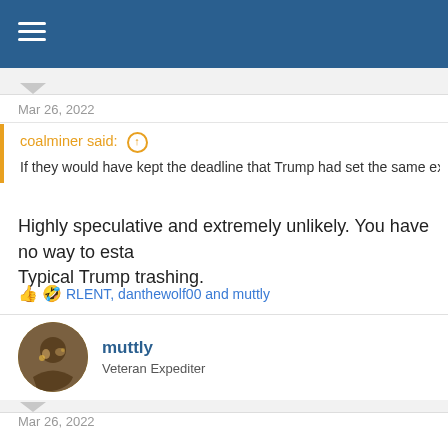Mar 26, 2022
coalminer said: ↑
If they would have kept the deadline that Trump had set the same exact th
Highly speculative and extremely unlikely. You have no way to esta Typical Trump trashing.
RLENT, danthewolf00 and muttly
muttly
Veteran Expediter
Mar 26, 2022
97 percent of voters in Crimea voted to join the Russian Federatio
There is nothing wrong with trying have a good relationship instea